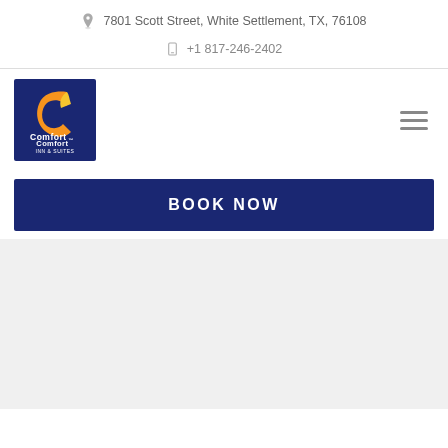7801 Scott Street, White Settlement, TX, 76108
+1 817-246-2402
[Figure (logo): Comfort Inn & Suites logo on dark blue background with orange C icon]
BOOK NOW